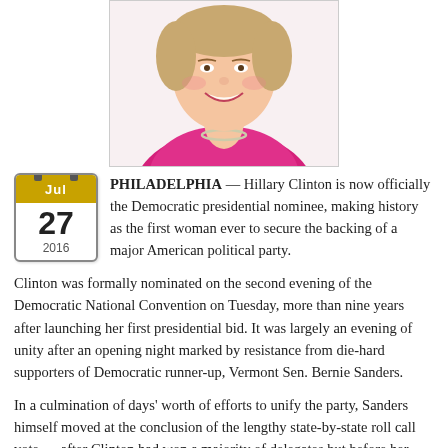[Figure (photo): Photograph of Hillary Clinton smiling, wearing a magenta/pink blazer and necklace, cropped from shoulders up.]
PHILADELPHIA — Hillary Clinton is now officially the Democratic presidential nominee, making history as the first woman ever to secure the backing of a major American political party.
Clinton was formally nominated on the second evening of the Democratic National Convention on Tuesday, more than nine years after launching her first presidential bid. It was largely an evening of unity after an opening night marked by resistance from die-hard supporters of Democratic runner-up, Vermont Sen. Bernie Sanders.
In a culmination of days' worth of efforts to unify the party, Sanders himself moved at the conclusion of the lengthy state-by-state roll call vote — after Clinton had won a majority of delegates but before her formal nomination was announced to the assembled delegates in the Wells Fargo Center — to give Clinton...